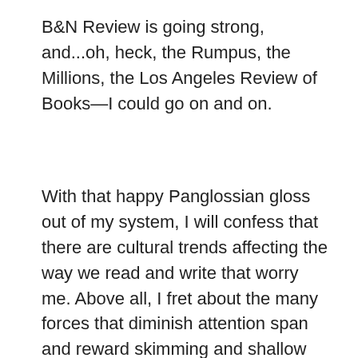B&N Review is going strong, and...oh, heck, the Rumpus, the Millions, the Los Angeles Review of Books—I could go on and on.
With that happy Panglossian gloss out of my system, I will confess that there are cultural trends affecting the way we read and write that worry me. Above all, I fret about the many forces that diminish attention span and reward skimming and shallow reading. Those really do pain me, especially when I detect them in myself. There's a nice passage in Geoff Dyer's new book, Zone, where he speculates